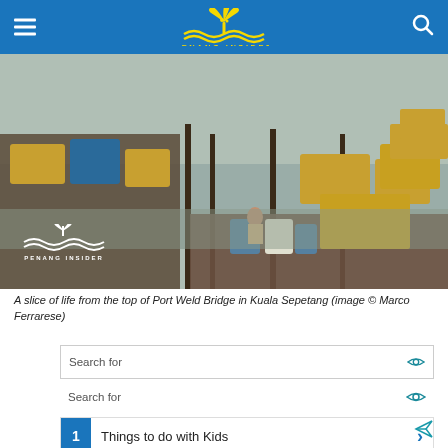PENANG INSIDER
[Figure (photo): Aerial view of fishing boats and docks at Port Weld Bridge in Kuala Sepetang, with a river, wooden piers, and colorful fishing vessels. Penang Insider watermark logo visible in lower left of photo.]
A slice of life from the top of Port Weld Bridge in Kuala Sepetang (image © Marco Ferrarese)
Search for
Search for
1  Things to do with Kids
2  Things to do in Gatlinburg